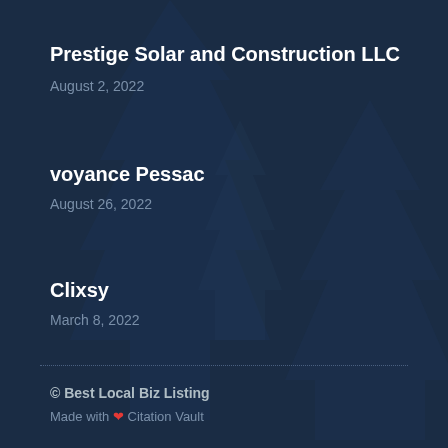Prestige Solar and Construction LLC
August 2, 2022
voyance Pessac
August 26, 2022
Clixsy
March 8, 2022
© Best Local Biz Listing
Made with ❤ Citation Vault